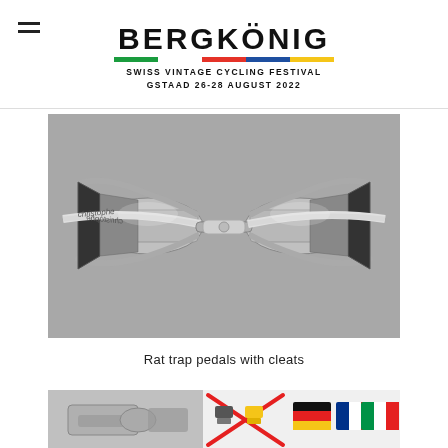BERGKÖNIG
SWISS VINTAGE CYCLING FESTIVAL
GSTAAD 26-28 AUGUST 2022
[Figure (photo): A pair of chrome/silver rat trap bicycle pedals with white toe straps branded 'christophe', photographed from the front on a gray background. The pedals are mirrored facing each other.]
Rat trap pedals with cleats
[Figure (photo): Bottom-left: partial photo of a bicycle component (appears to be a pedal cleat or fitting). Bottom-right: infographic/diagram showing cleat compatibility with flag icons for Germany, France, and Italy, with a red X and cycling cleat illustrations.]